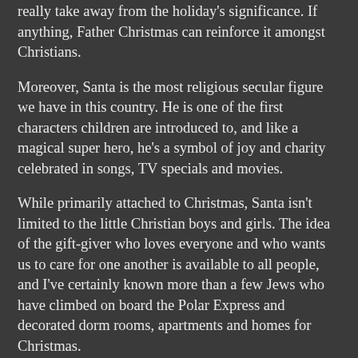really take away from the holiday's significance. If anything, Father Christmas can reinforce it amongst Christians.
Moreover, Santa is the most religious secular figure we have in this country. He is one of the first characters children are introduced to, and like a magical super hero, he's a symbol of joy and charity celebrated in songs, TV specials and movies.
While primarily attached to Christmas, Santa isn't limited to the little Christian boys and girls. The idea of the gift-giver who loves everyone and who wants us to care for one another is available to all people, and I've certainly known more than a few Jews who have climbed on board the Polar Express and decorated dorm rooms, apartments and homes for Christmas.
Why shouldn't they? Kris Kringle is the ultimate good guy geek icon. He is Superman, Peter Parker, Bruce Wayne, Gandalf the White, James Bond, Doctor Who and James T. Kirk all rolled into one.
Here's a guy with an alliterative secret identity who operates